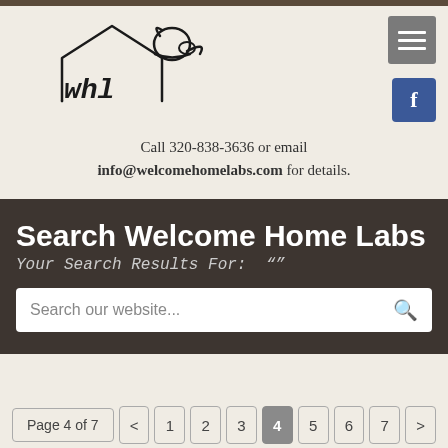[Figure (logo): Welcome Home Labs (WHL) logo with dog and house silhouette in hand-drawn style]
Call 320-838-3636 or email info@welcomehomelabs.com for details.
Search Welcome Home Labs
Your Search Results For: ""
Search our website...
Page 4 of 7  <  1  2  3  4  5  6  7  >